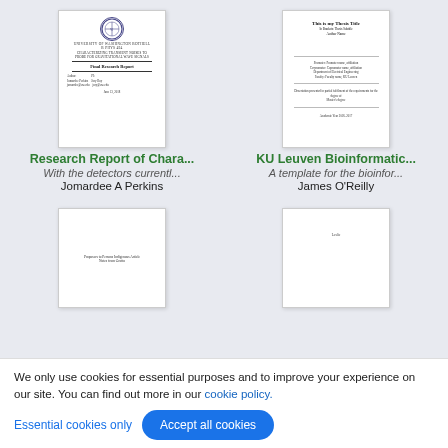[Figure (screenshot): Thumbnail of UW Bothell Final Research Report document cover page with university seal]
Research Report of Chara...
With the detectors currentl...
Jomardee A Perkins
[Figure (screenshot): Thumbnail of KU Leuven Bioinformatics thesis template cover page]
KU Leuven Bioinformatic...
A template for the bioinfor...
James O'Reilly
[Figure (screenshot): Partial thumbnail of a third document (Persons Indigenous Article)]
[Figure (screenshot): Partial thumbnail of a fourth document]
We only use cookies for essential purposes and to improve your experience on our site. You can find out more in our cookie policy.
Essential cookies only
Accept all cookies